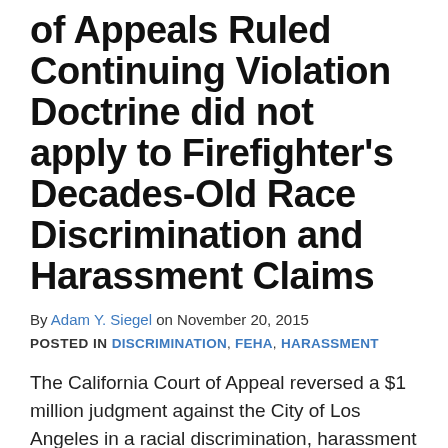of Appeals Ruled Continuing Violation Doctrine did not apply to Firefighter's Decades-Old Race Discrimination and Harassment Claims
By Adam Y. Siegel on November 20, 2015
POSTED IN DISCRIMINATION, FEHA, HARASSMENT
The California Court of Appeal reversed a $1 million judgment against the City of Los Angeles in a racial discrimination, harassment and retaliation case brought by a firefighter under the California Fair Employment and Housing Act. Jumaane v. City of Los Angeles. After 12 years of litigation and two jury trials,